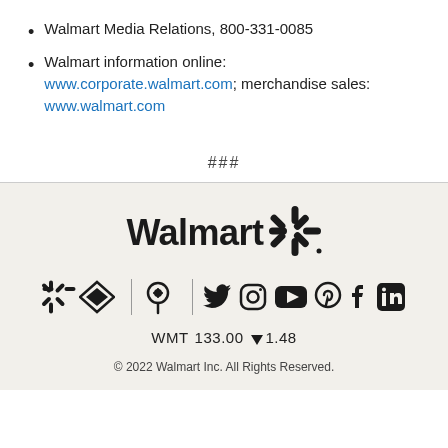Walmart Media Relations, 800-331-0085
Walmart information online: www.corporate.walmart.com; merchandise sales: www.walmart.com
###
[Figure (logo): Walmart logo with spark symbol and social media icons row, stock ticker WMT 133.00 down 1.48, copyright 2022 Walmart Inc. All Rights Reserved.]